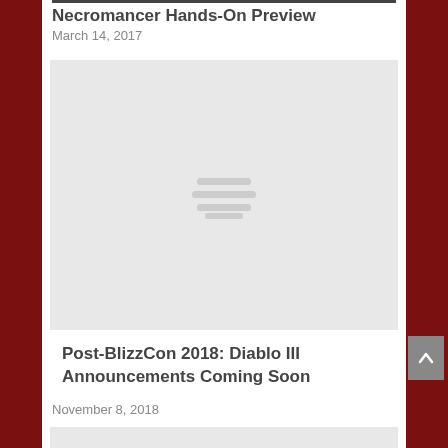Necromancer Hands-On Preview
March 14, 2017
[Figure (photo): Gray placeholder image with loading icon (three horizontal bars centered)]
Post-BlizzCon 2018: Diablo III Announcements Coming Soon
November 8, 2018
[Figure (photo): Gray placeholder image, partially visible at bottom of page]